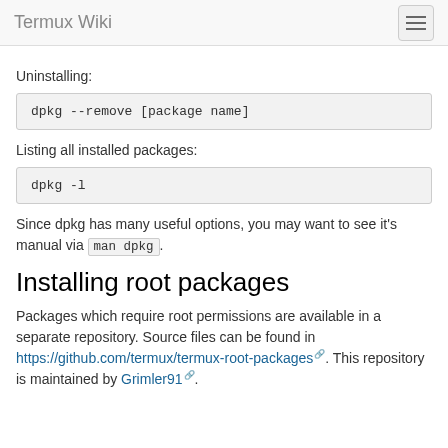Termux Wiki
Uninstalling:
Listing all installed packages:
Since dpkg has many useful options, you may want to see it's manual via man dpkg.
Installing root packages
Packages which require root permissions are available in a separate repository. Source files can be found in https://github.com/termux/termux-root-packages. This repository is maintained by Grimler91.